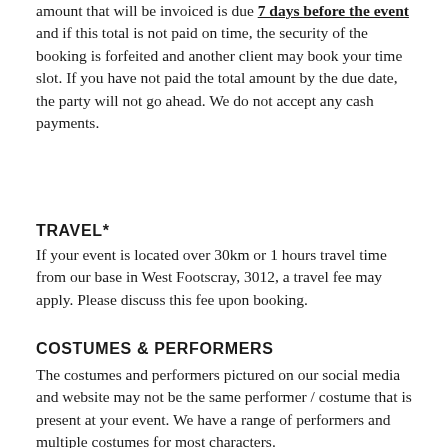amount that will be invoiced is due 7 days before the event and if this total is not paid on time, the security of the booking is forfeited and another client may book your time slot. If you have not paid the total amount by the due date, the party will not go ahead. We do not accept any cash payments.
TRAVEL*
If your event is located over 30km or 1 hours travel time from our base in West Footscray, 3012, a travel fee may apply. Please discuss this fee upon booking.
COSTUMES & PERFORMERS
The costumes and performers pictured on our social media and website may not be the same performer / costume that is present at your event. We have a range of performers and multiple costumes for most characters.